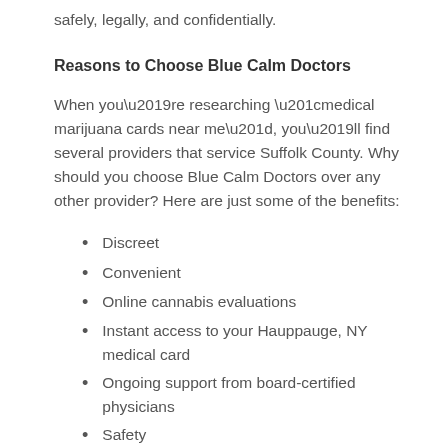safely, legally, and confidentially.
Reasons to Choose Blue Calm Doctors
When you’re researching “medical marijuana cards near me”, you’ll find several providers that service Suffolk County. Why should you choose Blue Calm Doctors over any other provider? Here are just some of the benefits:
Discreet
Convenient
Online cannabis evaluations
Instant access to your Hauppauge, NY medical card
Ongoing support from board-certified physicians
Safety
Reliability
Affordability ($149 for the initial fee, which includes the first year of an NYS Medical Marijuana Card and a